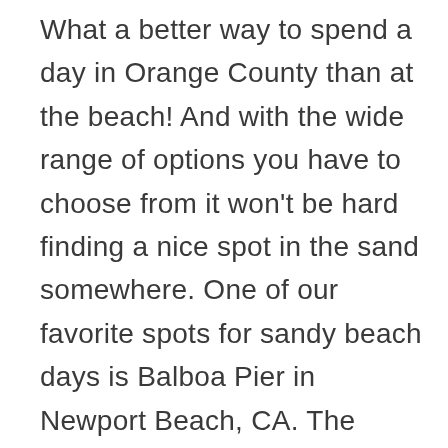What a better way to spend a day in Orange County than at the beach! And with the wide range of options you have to choose from it won't be hard finding a nice spot in the sand somewhere. One of our favorite spots for sandy beach days is Balboa Pier in Newport Beach, CA. The Balboa Pier is one of five Orange County piers that stand today! Balboa Pier is also one of two piers that are situated in Newport Beach. The second is The Newport Municipal Pier or most commonly know as The Newport Pier. So if you are visiting the area and want to